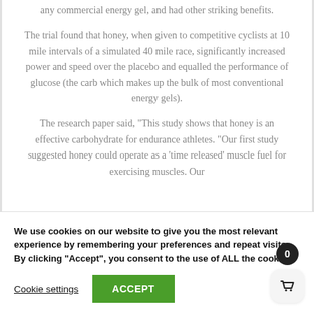any commercial energy gel, and had other striking benefits.
The trial found that honey, when given to competitive cyclists at 10 mile intervals of a simulated 40 mile race, significantly increased power and speed over the placebo and equalled the performance of glucose (the carb which makes up the bulk of most conventional energy gels).
The research paper said, "This study shows that honey is an effective carbohydrate for endurance athletes. "Our first study suggested honey could operate as a 'time released' muscle fuel for exercising muscles. Our
We use cookies on our website to give you the most relevant experience by remembering your preferences and repeat visits. By clicking "Accept", you consent to the use of ALL the cookies.